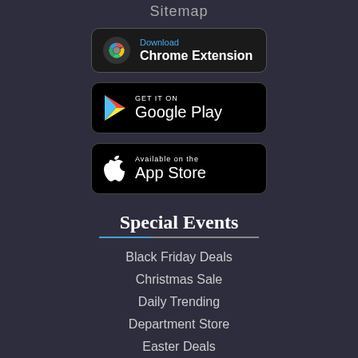Sitemap
[Figure (screenshot): Download Chrome Extension button with Chrome icon]
[Figure (screenshot): GET IT ON Google Play button with Google Play triangle icon]
[Figure (screenshot): Available on the App Store button with Apple logo]
Special Events
Black Friday Deals
Christmas Sale
Daily Trending
Department Store
Easter Deals
Fashion Deals